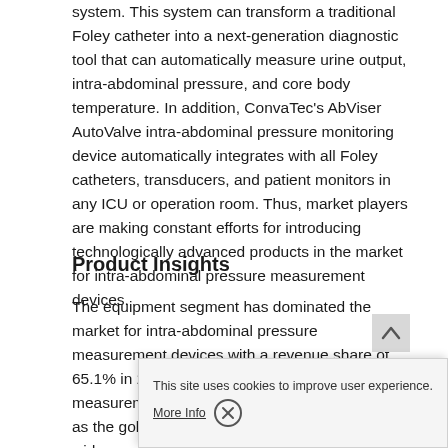system. This system can transform a traditional Foley catheter into a next-generation diagnostic tool that can automatically measure urine output, intra-abdominal pressure, and core body temperature. In addition, ConvaTec's AbViser AutoValve intra-abdominal pressure monitoring device automatically integrates with all Foley catheters, transducers, and patient monitors in any ICU or operation room. Thus, market players are making constant efforts for introducing technologically advanced products in the market for intra-abdominal pressure measurement devices.
Product Insights
The equipment segment has dominated the market for intra-abdominal pressure measurement devices with a revenue share of 65.1% in 2019. As intra-abdominal hypertension measurement (equipment) has been considered as the gold standard method and has achieved widespread acceptance due to